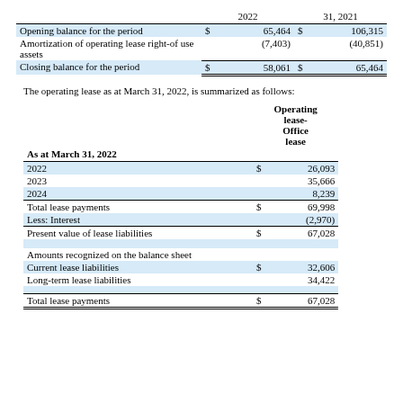|  | 2022 |  | 31, 2021 |  |
| --- | --- | --- | --- | --- |
| Opening balance for the period | $ | 65,464 | $ | 106,315 |
| Amortization of operating lease right-of use assets |  | (7,403) |  | (40,851) |
| Closing balance for the period | $ | 58,061 | $ | 65,464 |
The operating lease as at March 31, 2022, is summarized as follows:
| As at March 31, 2022 | Operating lease- Office lease |  |
| --- | --- | --- |
| 2022 | $ | 26,093 |
| 2023 |  | 35,666 |
| 2024 |  | 8,239 |
| Total lease payments | $ | 69,998 |
| Less: Interest |  | (2,970) |
| Present value of lease liabilities | $ | 67,028 |
| Amounts recognized on the balance sheet |  |  |
| Current lease liabilities | $ | 32,606 |
| Long-term lease liabilities |  | 34,422 |
| Total lease payments | $ | 67,028 |